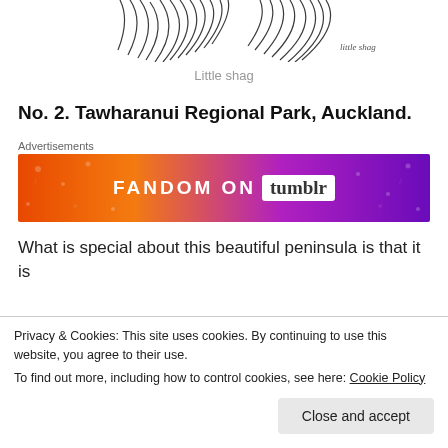[Figure (illustration): Partial view of a little shag bird illustration, showing feathered top portion and a small handwritten label in bottom right]
Little shag
No. 2. Tawharanui Regional Park, Auckland.
Advertisements
[Figure (other): FANDOM ON tumblr advertisement banner with orange to purple gradient background and decorative music/heart icons]
What is special about this beautiful peninsula is that it is
Privacy & Cookies: This site uses cookies. By continuing to use this website, you agree to their use.
To find out more, including how to control cookies, see here: Cookie Policy
Close and accept